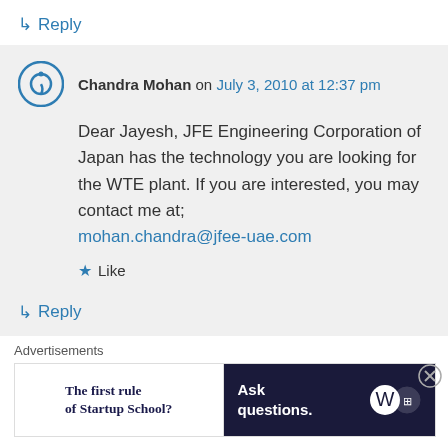↳ Reply
Chandra Mohan on July 3, 2010 at 12:37 pm
Dear Jayesh, JFE Engineering Corporation of Japan has the technology you are looking for the WTE plant. If you are interested, you may contact me at; mohan.chandra@jfee-uae.com
★ Like
↳ Reply
Advertisements
[Figure (other): Advertisement banner: left side white with 'The first rule of Startup School?' text; right side dark navy with 'Ask questions.' text and WordPress and other logos]